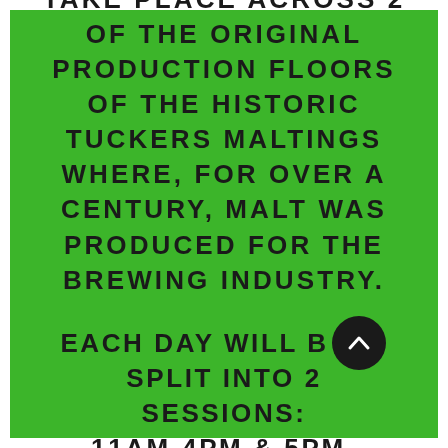THE FESTIVAL WILL TAKE PLACE ACROSS 2 OF THE ORIGINAL PRODUCTION FLOORS OF THE HISTORIC TUCKERS MALTINGS WHERE, FOR OVER A CENTURY, MALT WAS PRODUCED FOR THE BREWING INDUSTRY.
EACH DAY WILL BE SPLIT INTO 2 SESSIONS: 11AM-4PM & 5PM-10PM